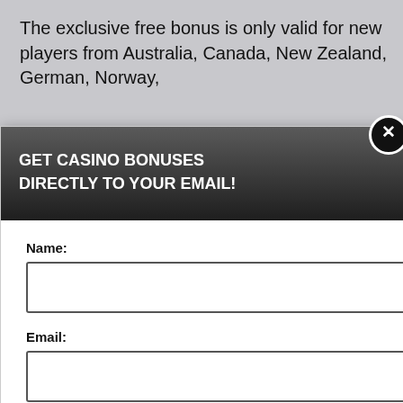The exclusive free bonus is only valid for new players from Australia, Canada, New Zealand, German, Norway,
cash buy in to be eligible. y apply. 18+
BONUS NO DEPOSIT
berience, we use Using this site, kie & privacy policy.
[Figure (screenshot): Email subscription modal popup with dark header, name and email fields, submit button, and privacy policy footer]
GET CASINO BONUSES DIRECTLY TO YOUR EMAIL!
Name:
Email:
Submit
By subscribing you are certifying that you have reviewed and accepted our updated Privacy and Cookie policy.